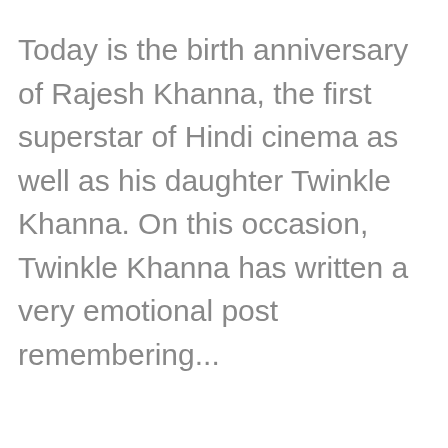Today is the birth anniversary of Rajesh Khanna, the first superstar of Hindi cinema as well as his daughter Twinkle Khanna. On this occasion, Twinkle Khanna has written a very emotional post remembering...